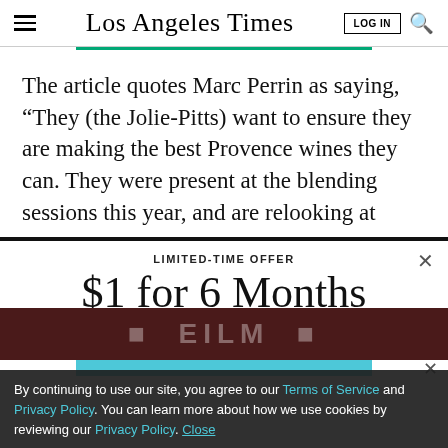Los Angeles Times | LOG IN
The article quotes Marc Perrin as saying, “They (the Jolie-Pitts) want to ensure they are making the best Provence wines they can. They were present at the blending sessions this year, and are relooking at
LIMITED-TIME OFFER
$1 for 6 Months
SUBSCRIBE NOW
By continuing to use our site, you agree to our Terms of Service and Privacy Policy. You can learn more about how we use cookies by reviewing our Privacy Policy. Close